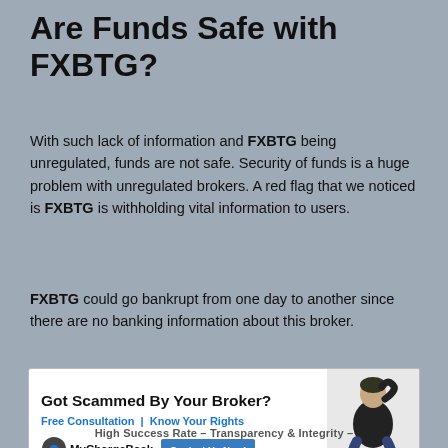Are Funds Safe with FXBTG?
With such lack of information and FXBTG being unregulated, funds are not safe. Security of funds is a huge problem with unregulated brokers. A red flag that we noticed is FXBTG is withholding vital information to users.
FXBTG could go bankrupt from one day to another since there are no banking information about this broker.
[Figure (infographic): Advertisement banner: 'Got Scammed By Your Broker? Free Consultation | Know Your Rights' with MyChargeBack logo and 'Contact Us Now!' button, plus image of distressed person]
High Success Rate - Transparency & Integrity -